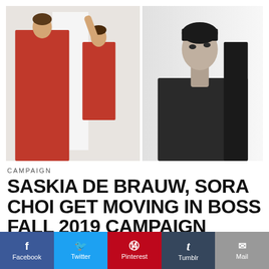[Figure (photo): Two fashion campaign photos side by side: left photo shows two models in red suits/outfits on white background (color); right photo is black and white close-up portrait of a model in dark top looking upward.]
CAMPAIGN
SASKIA DE BRAUW, SORA CHOI GET MOVING IN BOSS FALL 2019 CAMPAIGN
[Figure (infographic): Social sharing bar with Facebook (blue), Twitter (cyan), Pinterest (red), Tumblr (dark blue), and Mail (grey) buttons.]